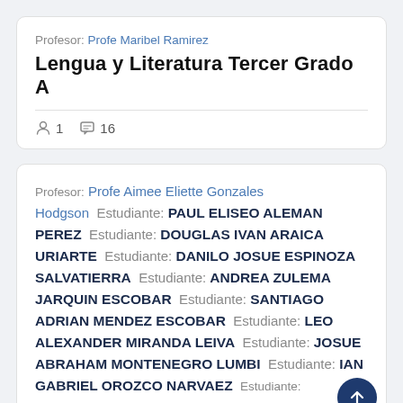Profesor: Profe Maribel Ramirez
Lengua y Literatura Tercer Grado A
1 member  16 comments
Profesor: Profe Aimee Eliette Gonzales Hodgson   Estudiante: PAUL ELISEO ALEMAN PEREZ   Estudiante: DOUGLAS IVAN ARAICA URIARTE   Estudiante: DANILO JOSUE ESPINOZA SALVATIERRA   Estudiante: ANDREA ZULEMA JARQUIN ESCOBAR   Estudiante: SANTIAGO ADRIAN MENDEZ ESCOBAR   Estudiante: LEO ALEXANDER MIRANDA LEIVA   Estudiante: JOSUE ABRAHAM MONTENEGRO LUMBI   Estudiante: IAN GABRIEL OROZCO NARVAEZ   Estudiante: CHRISTOPHER JOSE